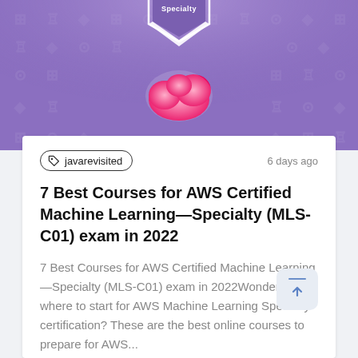[Figure (illustration): Purple background AWS certification badge area with a white hexagonal specialty badge at top and a pink/magenta cloud icon below it, with faint watermark pattern of tech symbols in background]
javarevisited
6 days ago
7 Best Courses for AWS Certified Machine Learning—Specialty (MLS-C01) exam in 2022
7 Best Courses for AWS Certified Machine Learning—Specialty (MLS-C01) exam in 2022Wondering where to start for AWS Machine Learning Specialty certification? These are the best online courses to prepare for AWS...
javinpaul
7 MIN READ